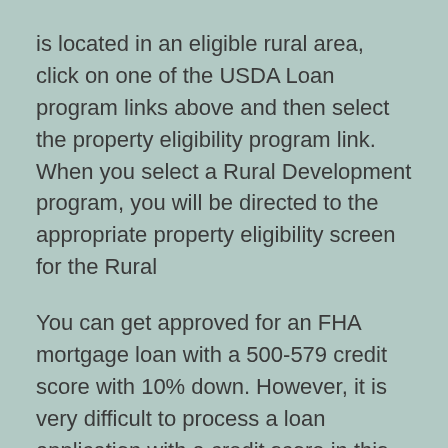is located in an eligible rural area, click on one of the USDA Loan program links above and then select the property eligibility program link. When you select a Rural Development program, you will be directed to the appropriate property eligibility screen for the Rural
You can get approved for an FHA mortgage loan with a 500-579 credit score with 10% down. However, it is very difficult to process a loan application with a credit score in this range. If you have at least a 580 credit score, it is easier to qualify for an FHA mortgage.